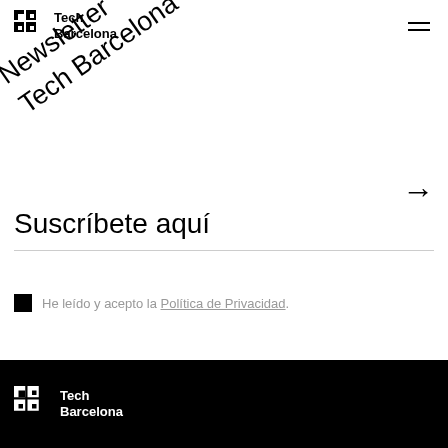Tech Barcelona
Newsletter Tech Barcelona
Suscríbete aquí
He leído y acepto la Política de Privacidad.
Tech Barcelona